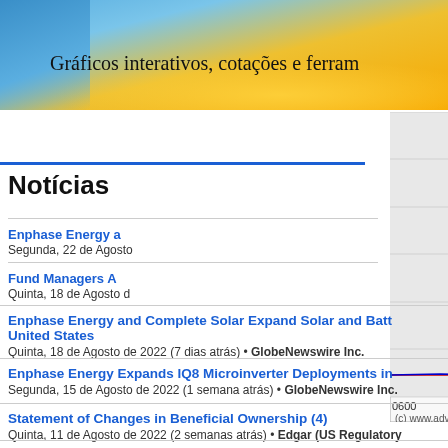Gráficos interativos, cotações e ferram
[Figure (continuous-plot): Intraday stock price chart showing price movement from 0600 to 1800+, with watermark text 'Leilão' and 'After'. Y-axis shows values 284-296. Red horizontal line near 285. Blue price line peaks around 1000-1200 time. Source: (c) www.advfn.com]
Notícias
Enphase Energy a
Segunda, 22 de Agosto
Fund Managers A
Quinta, 18 de Agosto
Enphase Energy and Complete Solar Expand Solar and Batt United States
Quinta, 18 de Agosto de 2022 (7 dias atrás) • GlobeNewswire Inc.
Enphase Energy Expands IQ8 Microinverter Deployments in
Segunda, 15 de Agosto de 2022 (1 semana atrás) • GlobeNewswire Inc.
Statement of Changes in Beneficial Ownership (4)
Quinta, 11 de Agosto de 2022 (2 semanas atrás) • Edgar (US Regulatory
Enphase Energy Expands ClipperCreek Product Deploymen